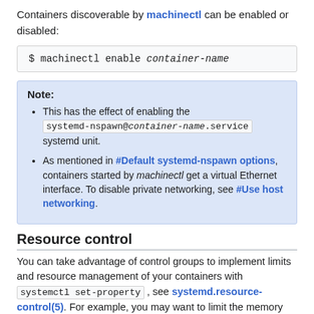Containers discoverable by machinectl can be enabled or disabled:
$ machinectl enable container-name
Note:
• This has the effect of enabling the systemd-nspawn@container-name.service systemd unit.
• As mentioned in #Default systemd-nspawn options, containers started by machinectl get a virtual Ethernet interface. To disable private networking, see #Use host networking.
Resource control
You can take advantage of control groups to implement limits and resource management of your containers with systemctl set-property , see systemd.resource-control(5). For example, you may want to limit the memory